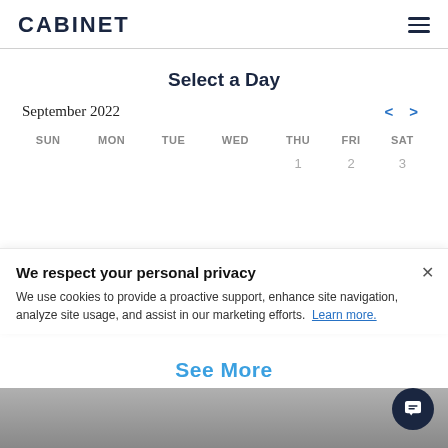CABINET
Select a Day
September 2022
| SUN | MON | TUE | WED | THU | FRI | SAT |
| --- | --- | --- | --- | --- | --- | --- |
|  |  |  |  | 1 | 2 | 3 |
We respect your personal privacy
We use cookies to provide a proactive support, enhance site navigation, analyze site usage, and assist in our marketing efforts. Learn more.
See More